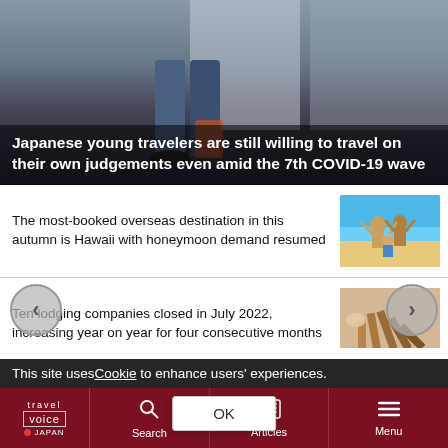[Figure (photo): Hero image showing legs in jeans near luggage with dark overlay, travel/airport scene]
Japanese young travelers are still willing to travel on their own judgements even amid the 7th COVID-19 wave
The most-booked overseas destination in this autumn is Hawaii with honeymoon demand resumed
[Figure (photo): Thumbnail of people at a beach, Hawaii scene]
Ten lodging companies closed in July 2022, increasing year on year for four consecutive months
[Figure (photo): Thumbnail of wooden dominoes falling]
An international visitor in Japan spent 00 JPY on average in Q1 of 22, higher than usual
[Figure (photo): Thumbnail of people eating food outdoors]
This site uses Cookie to enhance users' experiences.
travel voice JAPAN | Search | Articles | Menu